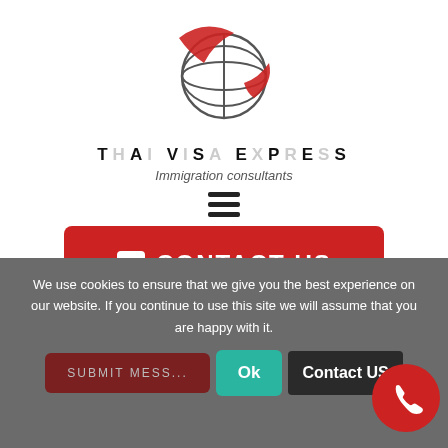[Figure (logo): Thai Visa Express globe logo with red swoosh]
THAI VISA EXPRESS
Immigration consultants
[Figure (other): Hamburger menu icon (three horizontal lines)]
CONTACT US
Subject:
Message
We use cookies to ensure that we give you the best experience on our website. If you continue to use this site we will assume that you are happy with it.
SUBMIT MESS...
Ok
Contact US